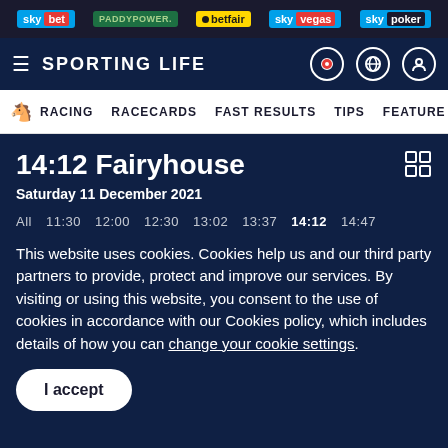sky bet | PADDYPOWER. | betfair | sky vegas | sky poker
≡ SPORTING LIFE
🐴 RACING  RACECARDS  FAST RESULTS  TIPS  FEATURES
14:12 Fairyhouse
Saturday 11 December 2021
All  11:30  12:00  12:30  13:02  13:37  14:12  14:47
This website uses cookies. Cookies help us and our third party partners to provide, protect and improve our services. By visiting or using this website, you consent to the use of cookies in accordance with our Cookies policy, which includes details of how you can change your cookie settings.
I accept